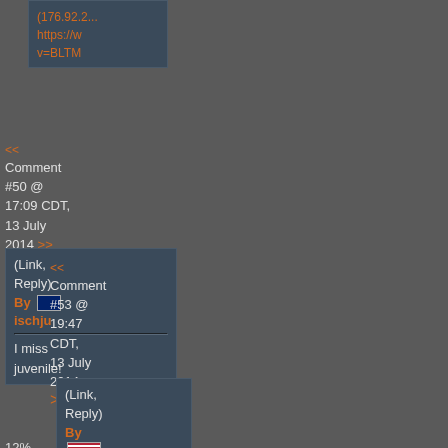(176.92.2... https://w v=BLTM
<< Comment #50 @ 17:09 CDT, 13 July 2014 >>
(Link, Reply) By ischju
I miss juvenile!
12%
<< Comment #53 @ 19:47 CDT, 13 July 2014 >>
(Link, Reply) By mray